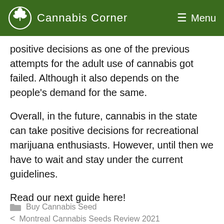Cannabis Corner  Menu
positive decisions as one of the previous attempts for the adult use of cannabis got failed. Although it also depends on the people's demand for the same.
Overall, in the future, cannabis in the state can take positive decisions for recreational marijuana enthusiasts. However, until then we have to wait and stay under the current guidelines.
Read our next guide here!
Buy Cannabis Seed
< Montreal Cannabis Seeds Review 2021